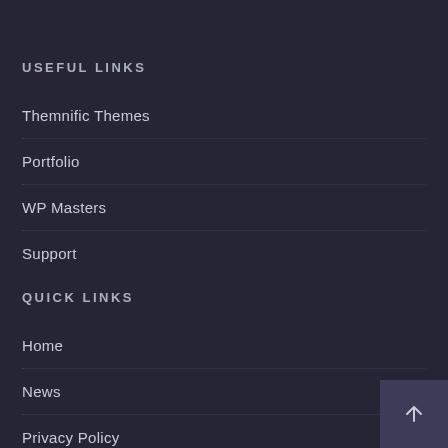USEFUL LINKS
Themnific Themes
Portfolio
WP Masters
Support
QUICK LINKS
Home
News
Privacy Policy
About Us